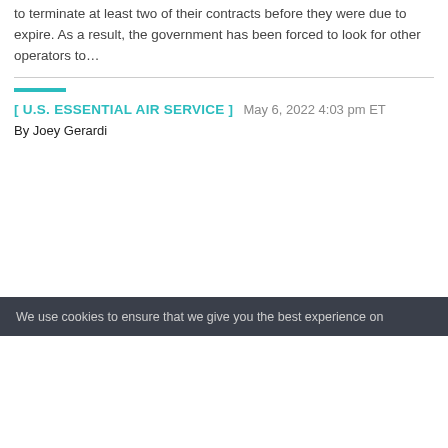to terminate at least two of their contracts before they were due to expire. As a result, the government has been forced to look for other operators to…
[ U.S. ESSENTIAL AIR SERVICE ]   May 6, 2022 4:03 pm ET
By Joey Gerardi
We use cookies to ensure that we give you the best experience on